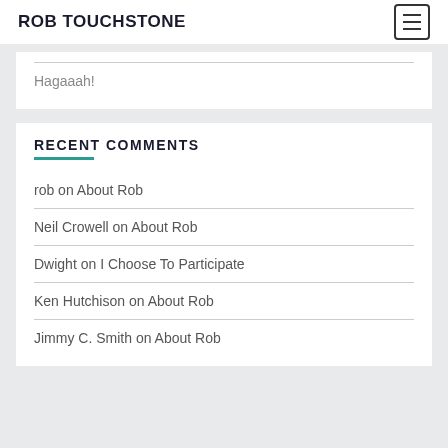ROB TOUCHSTONE
Hagaaah!
RECENT COMMENTS
rob on About Rob
Neil Crowell on About Rob
Dwight on I Choose To Participate
Ken Hutchison on About Rob
Jimmy C. Smith on About Rob